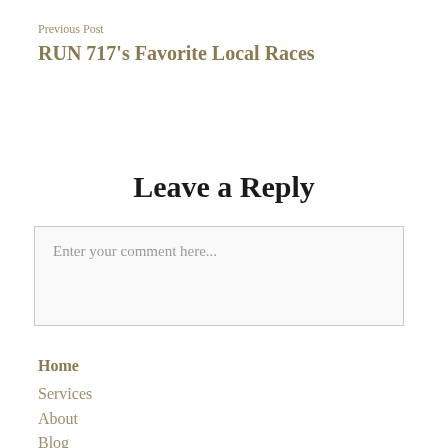Previous Post
RUN 717’s Favorite Local Races
Leave a Reply
Enter your comment here...
Home
Services
About
Blog